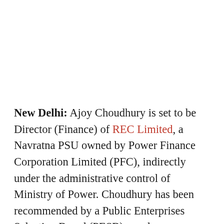New Delhi: Ajoy Choudhury is set to be Director (Finance) of REC Limited, a Navratna PSU owned by Power Finance Corporation Limited (PFC), indirectly under the administrative control of Ministry of Power. Choudhury has been recommended by a Public Enterprises Selection Board (PESB) panel on Wednesday. Currently, he is serving as Executive Director in the same organisation. He is also on the board of REC Power